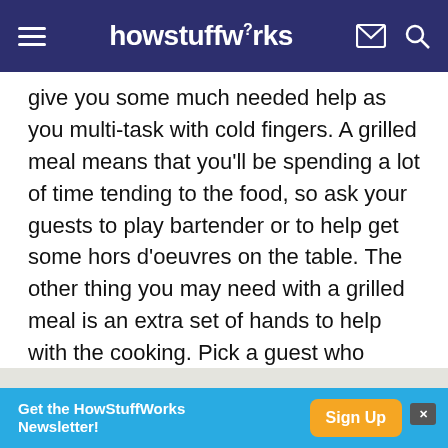howstuffworks
give you some much needed help as you multi-task with cold fingers. A grilled meal means that you'll be spending a lot of time tending to the food, so ask your guests to play bartender or to help get some hors d'oeuvres on the table. The other thing you may need with a grilled meal is an extra set of hands to help with the cooking. Pick a guest who doesn't mind pitching in and appoint him or her as your sous-chef for the evening.
[Figure (other): Partially visible section image/banner showing beginning of a section heading, text cut off at bottom of page]
[Figure (other): Advertisement banner: 'Get the HowStuffWorks Newsletter!' with Sign Up button]